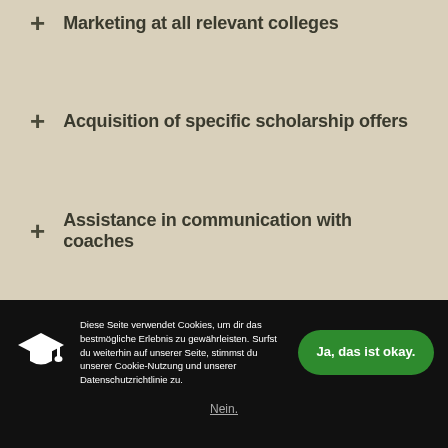+ Marketing at all relevant colleges
+ Acquisition of specific scholarship offers
+ Assistance in communication with coaches
Diese Seite verwendet Cookies, um dir das bestmögliche Erlebnis zu gewährleisten. Surfst du weiterhin auf unserer Seite, stimmst du unserer Cookie-Nutzung und unserer Datenschutzrichtlinie zu.
Ja, das ist okay.
Nein.